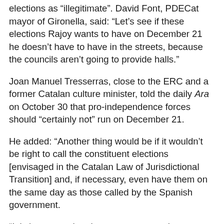elections as “illegitimate”. David Font, PDECat mayor of Gironella, said: “Let’s see if these elections Rajoy wants to have on December 21 he doesn’t have to have in the streets, because the councils aren’t going to provide halls.”
Joan Manuel Tresserras, close to the ERC and a former Catalan culture minister, told the daily Ara on October 30 that pro-independence forces should “certainly not” run on December 21.
He added: “Another thing would be if it wouldn’t be right to call the constituent elections [envisaged in the Catalan Law of Jurisdictional Transition] and, if necessary, even have them on the same day as those called by the Spanish government.
“It is important that the government make a proposal and that this be discussed and agreed with the CUP and the other components of the pro-independence bloc. If The Commons [Catalunya en Comu, the left-wing party of Barcelona mayor Adu Colau that supports the right to decide but not necessarily independence] are there too, all the